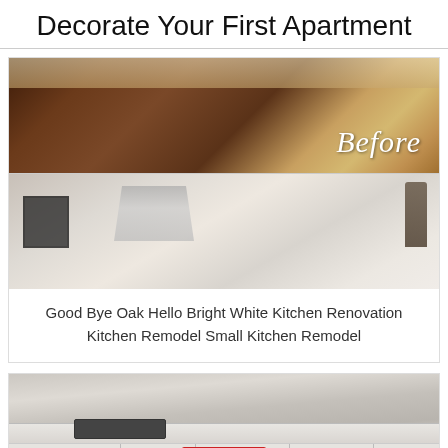Decorate Your First Apartment
[Figure (photo): Before and after kitchen renovation photos. Top: dark oak kitchen cabinets with wood floor (labeled 'Before'). Bottom: bright white kitchen with stainless steel range hood and white cabinets.]
Good Bye Oak Hello Bright White Kitchen Renovation Kitchen Remodel Small Kitchen Remodel
[Figure (photo): Modern white kitchen countertop with built-in gas stove/cooktop and a CLOSE button overlay at the bottom.]